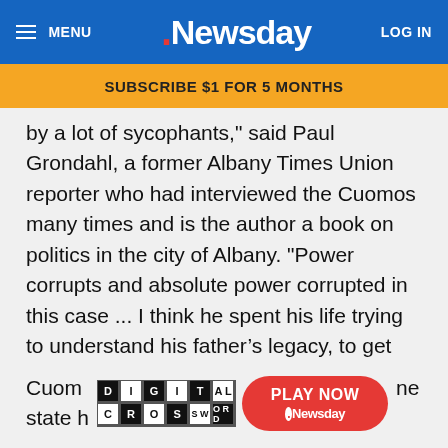MENU | Newsday | LOG IN
SUBSCRIBE $1 FOR 5 MONTHS
by a lot of sycophants," said Paul Grondahl, a former Albany Times Union reporter who had interviewed the Cuomos many times and is the author a book on politics in the city of Albany. "Power corrupts and absolute power corrupted in this case ... I think he spent his life trying to understand his father's legacy, to get out from his father's shadow,"
Analysts lament that although Cuomo has a long list of accomplishments, he could have had many more in New York and nationally.
Cuom ... he state h ...
[Figure (other): Digital Crossword ad widget with black and white checkerboard grid spelling DIGITAL CROSSWORD, and a red PLAY NOW button with Newsday logo]